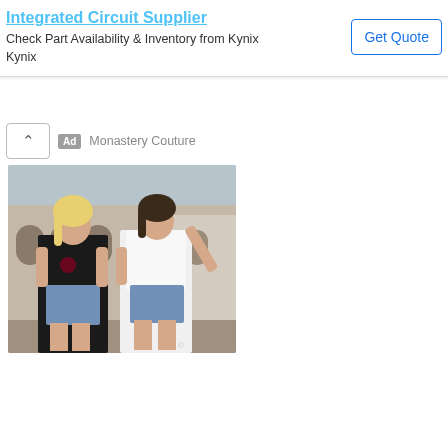[Figure (screenshot): Top advertisement banner: Integrated Circuit Supplier - Check Part Availability & Inventory from Kynix, Kynix, with a Get Quote button]
[Figure (screenshot): Second advertisement: Monastery Couture fashion ad showing two women in casual summer clothing (black crop top and white top with denim shorts) posing outdoors in front of a building with arches. Has a collapse/chevron button and Ad badge with Monastery Couture label.]